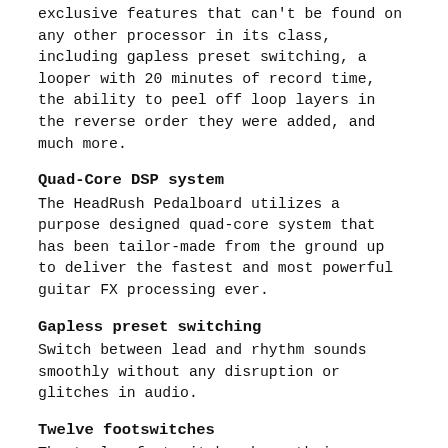exclusive features that can't be found on any other processor in its class, including gapless preset switching, a looper with 20 minutes of record time, the ability to peel off loop layers in the reverse order they were added, and much more.
Quad-Core DSP system
The HeadRush Pedalboard utilizes a purpose designed quad-core system that has been tailor-made from the ground up to deliver the fastest and most powerful guitar FX processing ever.
Gapless preset switching
Switch between lead and rhythm sounds smoothly without any disruption or glitches in audio.
Twelve footswitches
The twelve footswitches have their own OLED displays that are easily viewable from all angles.
Individual footswitch OLED screens
Each footswitch features an assignable color LED along with a scribble-strip style OLED display that dynamically